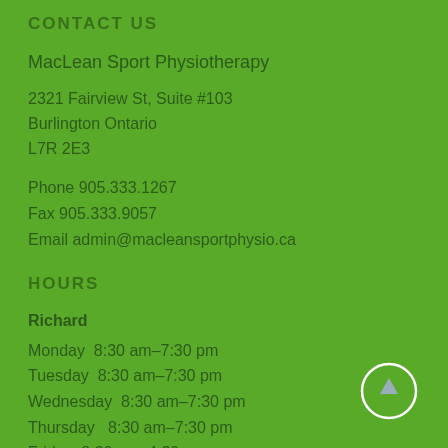CONTACT US
MacLean Sport Physiotherapy
2321 Fairview St, Suite #103
Burlington Ontario
L7R 2E3
Phone 905.333.1267
Fax 905.333.9057
Email admin@macleansportphysio.ca
HOURS
Richard
Monday  8:30 am–7:30 pm
Tuesday  8:30 am–7:30 pm
Wednesday  8:30 am–7:30 pm
Thursday  8:30 am–7:30 pm
Friday  8:30 am–4:30 pm